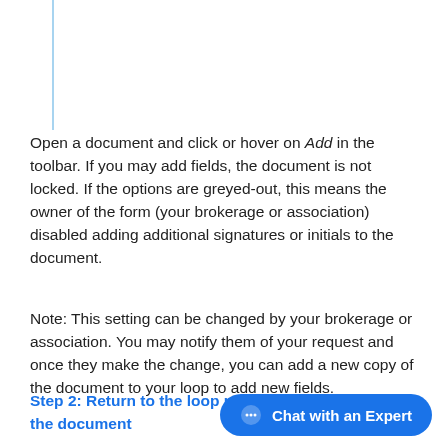Open a document and click or hover on Add in the toolbar. If you may add fields, the document is not locked. If the options are greyed-out, this means the owner of the form (your brokerage or association) disabled adding additional signatures or initials to the document.
Note: This setting can be changed by your brokerage or association. You may notify them of your request and once they make the change, you can add a new copy of the document to your loop to add new fields.
Step 2: Return to the loop page and make a copy of the document